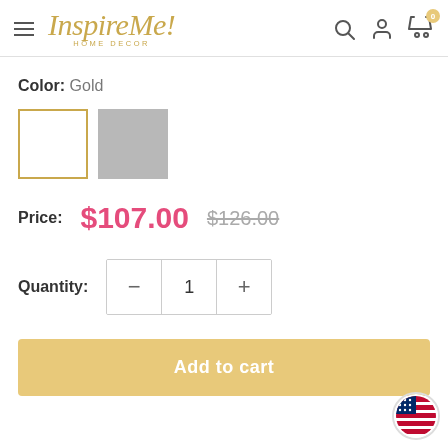[Figure (logo): Inspire Me! Home Decor logo in gold italic script with HOME DECOR subtitle]
Color: Gold
[Figure (other): Two color swatches: gold (selected with gold border) and silver/gray]
Price: $107.00  $126.00
Quantity: 1
Add to cart